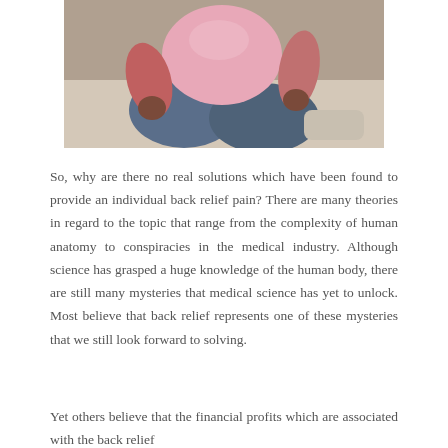[Figure (photo): Photo of a person seated, wearing a pink top and jeans, holding their back in pain, cropped to show torso and legs.]
So, why are there no real solutions which have been found to provide an individual back relief pain? There are many theories in regard to the topic that range from the complexity of human anatomy to conspiracies in the medical industry. Although science has grasped a huge knowledge of the human body, there are still many mysteries that medical science has yet to unlock. Most believe that back relief represents one of these mysteries that we still look forward to solving.
Yet others believe that the financial profits which are associated with the back relief